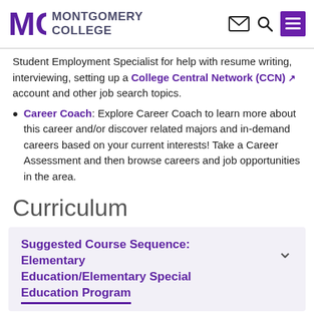Montgomery College
Student Employment Specialist for help with resume writing, interviewing, setting up a College Central Network (CCN) account and other job search topics.
Career Coach: Explore Career Coach to learn more about this career and/or discover related majors and in-demand careers based on your current interests! Take a Career Assessment and then browse careers and job opportunities in the area.
Curriculum
Suggested Course Sequence: Elementary Education/Elementary Special Education Program